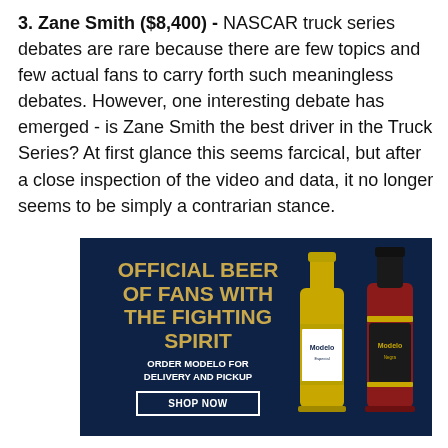3. Zane Smith ($8,400) - NASCAR truck series debates are rare because there are few topics and few actual fans to carry forth such meaningless debates. However, one interesting debate has emerged - is Zane Smith the best driver in the Truck Series? At first glance this seems farcical, but after a close inspection of the video and data, it no longer seems to be simply a contrarian stance.
[Figure (photo): Modelo beer advertisement on dark navy background. Text reads 'OFFICIAL BEER OF FANS WITH THE FIGHTING SPIRIT' in gold bold font, 'ORDER MODELO FOR DELIVERY AND PICKUP' in white bold font, and a 'SHOP NOW' button. Two Modelo beer bottles (Especial and Negra) are shown on the right side.]